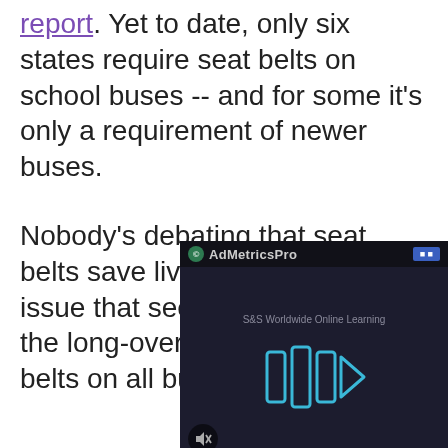report. Yet to date, only six states require seat belts on school buses -- and for some it's only a requirement of newer buses.
Nobody's debating that seat belts save lives, the biggest issue that seems to be hindering the long-overdue move for seat belts on all buses is money.
The national average cost of transporting a child via a school bus is $971 per student, and it's risen by 75 percent since 1990. Fewer children are riding school buses due to the increased cost, putting districts with less... buses. Upgrading... belts doesn't co... the Austin, Texa...
[Figure (screenshot): AdMetricsPro video ad overlay showing S&S Worldwide Online Learning with a play button (three blue vertical bars with arrow) and a mute button icon]